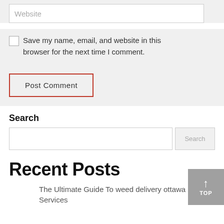[Figure (screenshot): Website text input field with placeholder text 'Website' on a light gray background]
Save my name, email, and website in this browser for the next time I comment.
[Figure (screenshot): Post Comment button with red border outline on gray background]
Search
[Figure (screenshot): Search input field with a search button on the right]
Recent Posts
The Ultimate Guide To weed delivery ottawa Services
[Figure (screenshot): Gray 'TOP' button with upward arrow in bottom right corner]